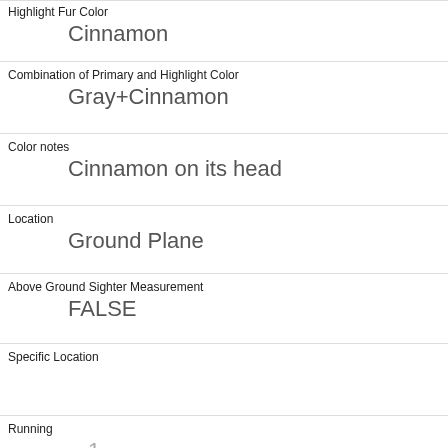| Field | Value |
| --- | --- |
| Highlight Fur Color | Cinnamon |
| Combination of Primary and Highlight Color | Gray+Cinnamon |
| Color notes | Cinnamon on its head |
| Location | Ground Plane |
| Above Ground Sighter Measurement | FALSE |
| Specific Location |  |
| Running | 1 |
| Chasing | 0 |
| Climbing | 0 |
| Eating | 0 |